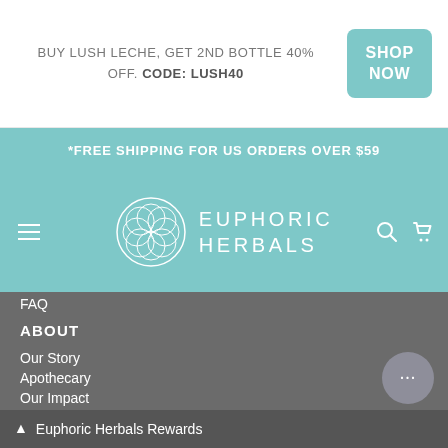BUY LUSH LECHE, GET 2ND BOTTLE 40% OFF. CODE: LUSH40
SHOP NOW
*FREE SHIPPING FOR US ORDERS OVER $59
[Figure (logo): Euphoric Herbals logo with circular geometric flower pattern and brand name]
FAQ
ABOUT
Our Story
Apothecary
Our Impact
Reviews
Contact
Press
PARTNER
Midwifery Scholarship
Euphoric Herbals Rewards